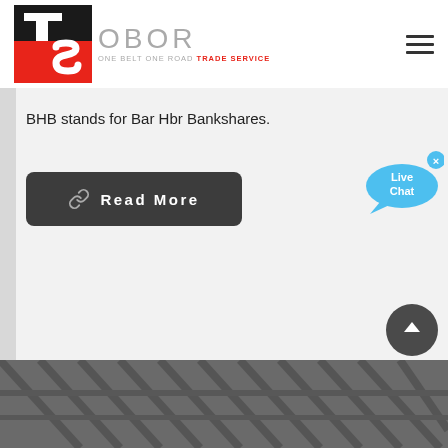[Figure (logo): OBOR Trade Service logo with TS icon in red/black square and 'OBOR ONE BELT ONE ROAD TRADE SERVICE' text in grey/red]
BHB stands for Bar Hbr Bankshares.
Read More
[Figure (illustration): Live Chat speech bubble icon in blue/cyan]
[Figure (photo): Industrial/construction interior photo at the bottom of the page]